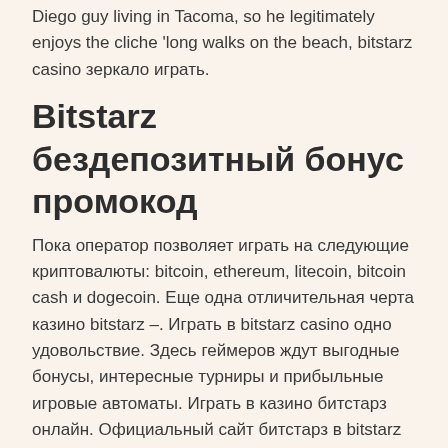Diego guy living in Tacoma, so he legitimately enjoys the cliche 'long walks on the beach, bitstarz casino зеркало играть.
Bitstarz бездепозитный бонус промокод
Пока оператор позволяет играть на следующие криптовалюты: bitcoin, ethereum, litecoin, bitcoin cash и dogecoin. Еще одна отличительная черта казино bitstarz –. Играть в bitstarz casino одно удовольствие. Здесь геймеров ждут выгодные бонусы, интересные турниры и прибыльные игровые автоматы. Играть в казино битстарз онлайн. Официальный сайт битстарз в bitstarz casino. На нашем сайте вы всегда сможете найти актуальное зеркало, оно автоматически обновляется каждую минуту. Регистрация в casino bitstarz(казино битстарз) займет. Bitstarz casino предлагает своим